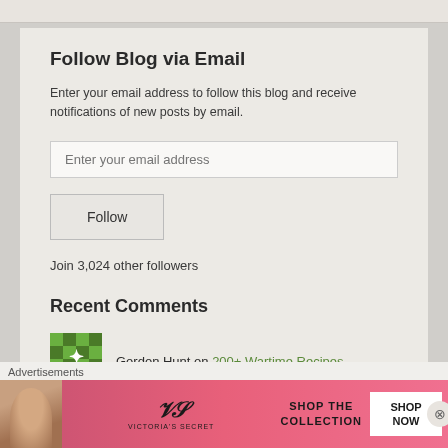Follow Blog via Email
Enter your email address to follow this blog and receive notifications of new posts by email.
Join 3,024 other followers
Recent Comments
Gordon Hunt on 200+ Wartime Recipes
Advertisements